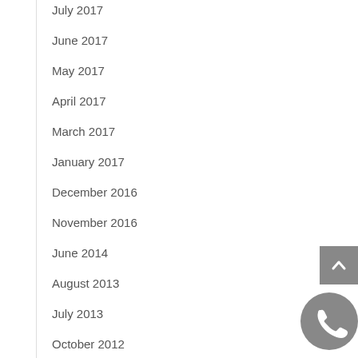July 2017
June 2017
May 2017
April 2017
March 2017
January 2017
December 2016
November 2016
June 2014
August 2013
July 2013
October 2012
September 2012
August 2012
July 2012